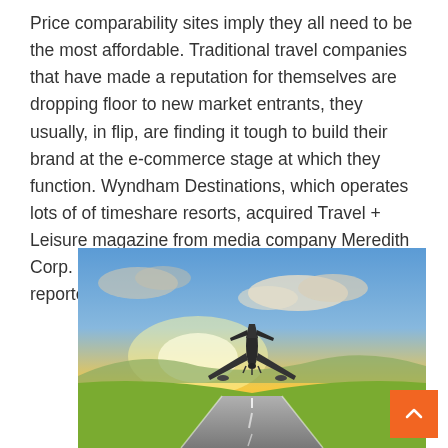Price comparability sites imply they all need to be the most affordable. Traditional travel companies that have made a reputation for themselves are dropping floor to new market entrants, they usually, in flip, are finding it tough to build their brand at the e-commerce stage at which they function. Wyndham Destinations, which operates lots of of timeshare resorts, acquired Travel + Leisure magazine from media company Meredith Corp. for $100 million, The Wall Street Journal reported final night time.
[Figure (photo): Airplane taking off from runway into a dramatic sunset sky with orange and yellow light, green fields on both sides of the runway]